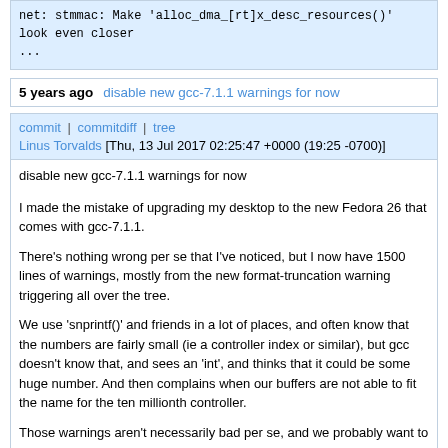net: stmmac: Make 'alloc_dma_[rt]x_desc_resources()' look even closer ...
5 years ago
disable new gcc-7.1.1 warnings for now
commit | commitdiff | tree
Linus Torvalds [Thu, 13 Jul 2017 02:25:47 +0000 (19:25 -0700)]
disable new gcc-7.1.1 warnings for now

I made the mistake of upgrading my desktop to the new Fedora 26 that comes with gcc-7.1.1.

There's nothing wrong per se that I've noticed, but I now have 1500 lines of warnings, mostly from the new format-truncation warning triggering all over the tree.

We use 'snprintf()' and friends in a lot of places, and often know that the numbers are fairly small (ie a controller index or similar), but gcc doesn't know that, and sees an 'int', and thinks that it could be some huge number.  And then complains when our buffers are not able to fit the name for the ten millionth controller.

Those warnings aren't necessarily bad per se, and we probably want to